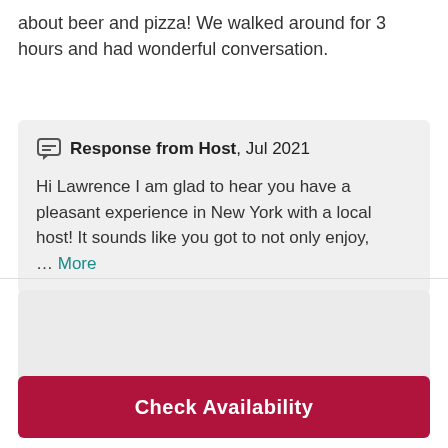about beer and pizza! We walked around for 3 hours and had wonderful conversation.
Response from Host, Jul 2021
Hi Lawrence I am glad to hear you have a pleasant experience in New York with a local host! It sounds like you got to not only enjoy,
… More
[Figure (other): Gray placeholder block]
Check Availability